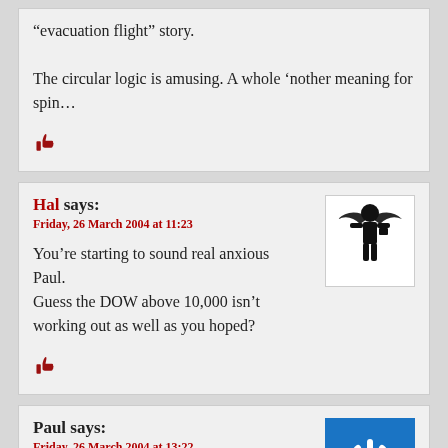“evaluation flight” story.

The circular logic is amusing. A whole ‘nother meaning for spin…
[thumbs up icon]
Hal says:
Friday, 26 March 2004 at 11:23
[Figure (illustration): Devil businessman avatar icon - black silhouette of a person in a suit with devil wings]
You’re starting to sound real anxious Paul. Guess the DOW above 10,000 isn’t working out as well as you hoped?
[thumbs up icon]
Paul says:
Friday, 26 March 2004 at 13:22
[Figure (logo): Blue square with white power button symbol]